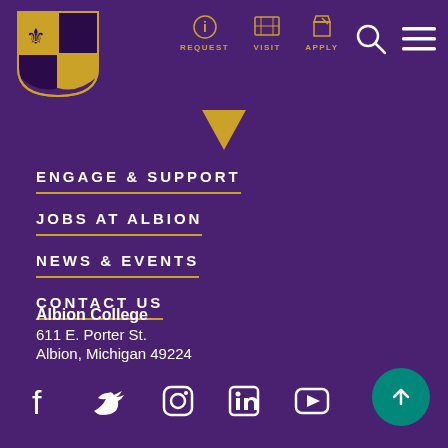[Figure (logo): Albion College shield logo in gold and purple/yellow quarters with fleur-de-lis]
REQUEST  VISIT  APPLY  [search icon] [menu icon]
ENGAGE & SUPPORT
JOBS AT ALBION
NEWS & EVENTS
CONTACT US
Albion College
611 E. Porter St.
Albion, Michigan 49224
[Figure (infographic): Social media icons row: Facebook, Twitter, Instagram, LinkedIn, YouTube]